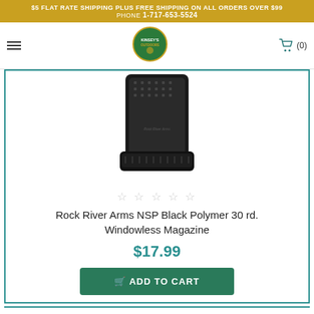$5 FLAT RATE SHIPPING PLUS FREE SHIPPING ON ALL ORDERS OVER $99
PHONE 1-717-653-5524
[Figure (logo): Kinsey's Outdoors circular logo with green and gold design]
[Figure (photo): Black polymer 30 round windowless magazine for AR-style rifle, Rock River Arms NSP brand]
Rock River Arms NSP Black Polymer 30 rd. Windowless Magazine
$17.99
ADD TO CART